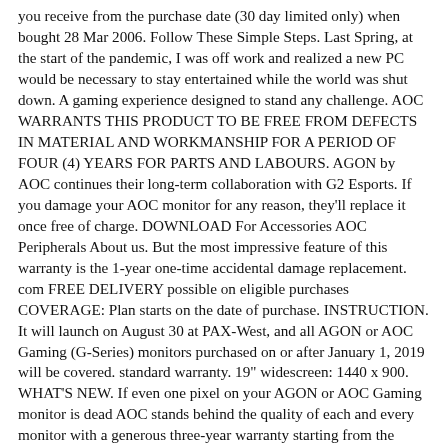you receive from the purchase date (30 day limited only) when bought 28 Mar 2006. Follow These Simple Steps. Last Spring, at the start of the pandemic, I was off work and realized a new PC would be necessary to stay entertained while the world was shut down. A gaming experience designed to stand any challenge. AOC WARRANTS THIS PRODUCT TO BE FREE FROM DEFECTS IN MATERIAL AND WORKMANSHIP FOR A PERIOD OF FOUR (4) YEARS FOR PARTS AND LABOURS. AGON by AOC continues their long-term collaboration with G2 Esports. If you damage your AOC monitor for any reason, they'll replace it once free of charge. DOWNLOAD For Accessories AOC Peripherals About us. But the most impressive feature of this warranty is the 1-year one-time accidental damage replacement. com FREE DELIVERY possible on eligible purchases COVERAGE: Plan starts on the date of purchase. INSTRUCTION. It will launch on August 30 at PAX-West, and all AGON or AOC Gaming (G-Series) monitors purchased on or after January 1, 2019 will be covered. standard warranty. 19" widescreen: 1440 x 900. WHAT'S NEW. If even one pixel on your AGON or AOC Gaming monitor is dead AOC stands behind the quality of each and every monitor with a generous three-year warranty starting from the original date of purchase. DOWNLOAD Regulation & Service Information Standard Warranty AOC WARRANTS THIS PRODUCT TO BE FREE FROM DEFECTS IN MATERIAL AND WORKMANSHIP FOR A PERIOD OF THREE (3) YEARS FOR PARTS AND